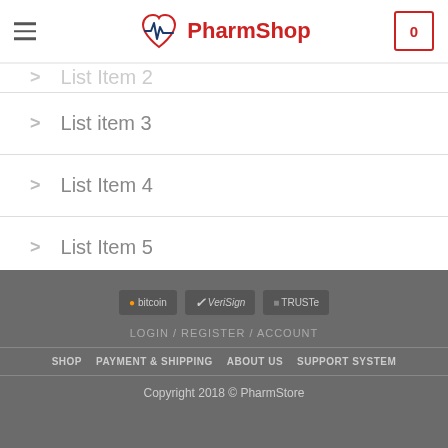PharmShop
List item 3
List Item 4
List Item 5
LOGIN / REGISTER / ACCOUNT  SHOP  PAYMENT & SHIPPING  ABOUT US  SUPPORT SYSTEM  Copyright 2018 © PharmStore